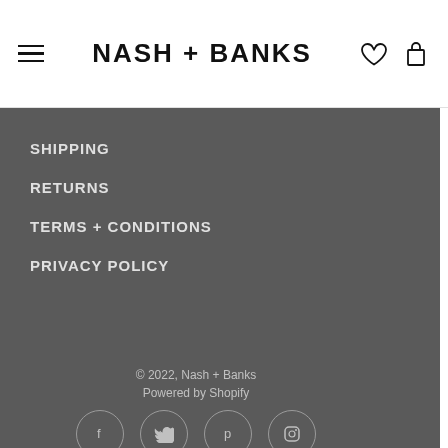NASH + BANKS
SHIPPING
RETURNS
TERMS + CONDITIONS
PRIVACY POLICY
© 2022, Nash + Banks
Powered by Shopify
[Figure (other): Social media icons: Facebook, Twitter, Pinterest, Instagram in circles]
AUD ^
[Figure (other): Payment method icons: Amex, Apple Pay, Google Pay, Mastercard, PayPal, OPay, Visa, Afterpay]